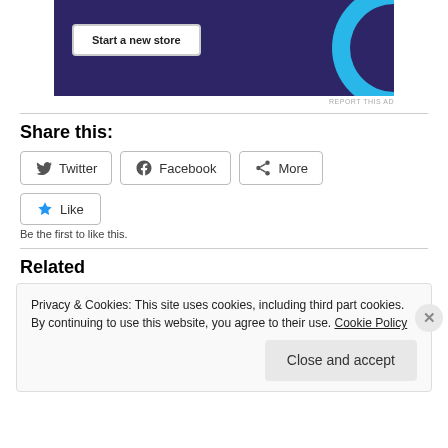[Figure (other): Advertisement banner with dark purple background, a 'Start a new store' button, and a blue circular shape on the right side.]
REPORT THIS AD
Share this:
Twitter  Facebook  More
Like
Be the first to like this.
Related
Privacy & Cookies: This site uses cookies, including third part cookies. By continuing to use this website, you agree to their use. Cookie Policy
Close and accept